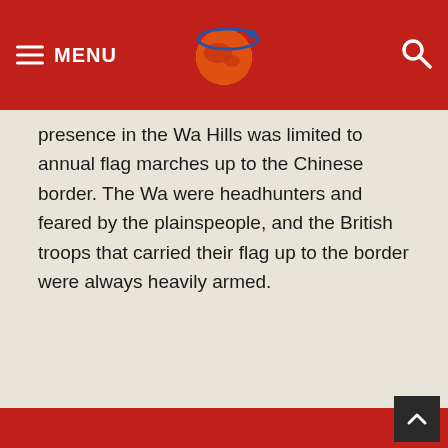MENU [logo] [search]
presence in the Wa Hills was limited to annual flag marches up to the Chinese border. The Wa were headhunters and feared by the plainspeople, and the British troops that carried their flag up to the border were always heavily armed.